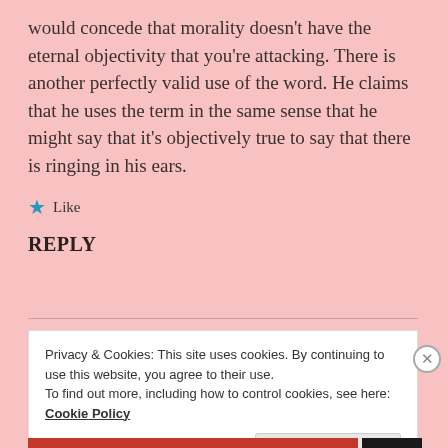would concede that morality doesn't have the eternal objectivity that you're attacking. There is another perfectly valid use of the word. He claims that he uses the term in the same sense that he might say that it's objectively true to say that there is ringing in his ears.
★ Like
REPLY
Privacy & Cookies: This site uses cookies. By continuing to use this website, you agree to their use. To find out more, including how to control cookies, see here: Cookie Policy
Close and accept